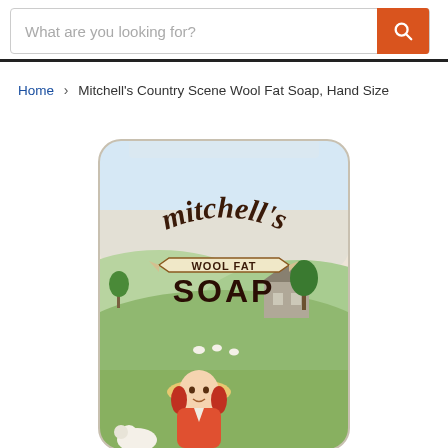What are you looking for? [search bar]
Home > Mitchell's Country Scene Wool Fat Soap, Hand Size
[Figure (photo): Product photo of Mitchell's Wool Fat Soap, Hand Size — a rectangular soap bar in illustrated packaging showing a rural country scene with rolling hills, stone cottage, trees, sheep, and a young girl in a bonnet. The packaging reads 'mitchell's WOOL FAT SOAP' in decorative lettering.]